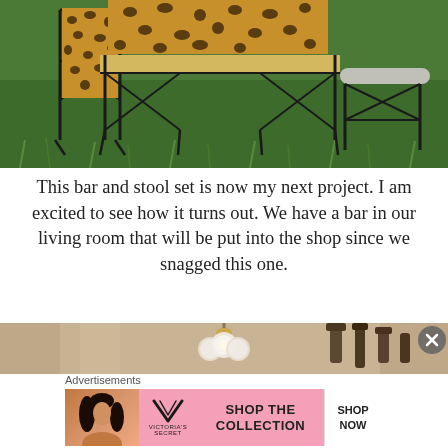[Figure (photo): Outdoor scene on grass showing a metal bar/shelf structure with black iron frame and leopard print fabric panels, with a gold/silver shelf surface]
This bar and stool set is now my next project. I am excited to see how it turns out. We have a bar in our living room that will be put into the shop since we snagged this one.
[Figure (photo): Indoor scene showing a hanging light fixture with globe bulbs and decorative bottles in the background]
Advertisements
[Figure (other): Victoria's Secret advertisement banner with model, VS logo, text 'SHOP THE COLLECTION' and 'SHOP NOW' button]